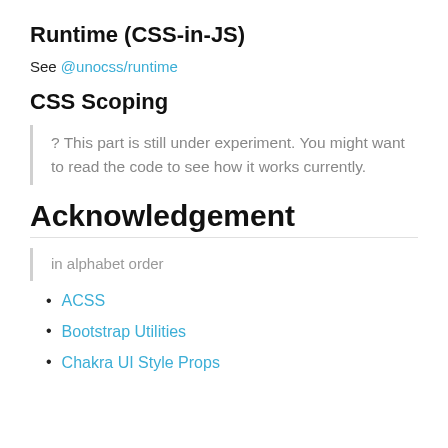Runtime (CSS-in-JS)
See @unocss/runtime
CSS Scoping
? This part is still under experiment. You might want to read the code to see how it works currently.
Acknowledgement
in alphabet order
ACSS
Bootstrap Utilities
Chakra UI Style Props